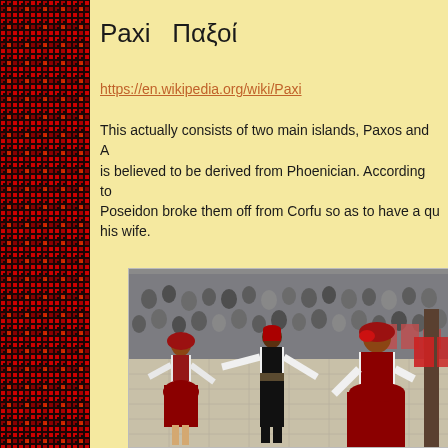[Figure (illustration): Decorative red and black embroidered or woven pattern border on the left side of the page]
Paxi  Παξοί
https://en.wikipedia.org/wiki/Paxi
This actually consists of two main islands, Paxos and A... is believed to be derived from Phoenician. According to... Poseidon broke them off from Corfu so as to have a qu... his wife.
[Figure (photo): Outdoor folk dancing scene with performers in traditional Greek red and white costumes dancing in a square, with a large crowd of spectators in the background]